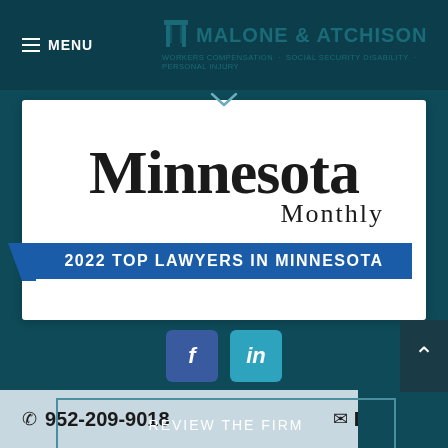MENU | MALONE & ATCHISON — WORKERS COMPENSATION · SOCIAL SECURITY DISABILITY · PERSONAL INJURY
[Figure (logo): Minnesota Monthly magazine logo with text '2022 TOP LAWYERS IN MINNESOTA' on blue banner]
[Figure (infographic): Social media icons: Facebook (f) and LinkedIn (in) buttons]
REVIEW THE FIRM
952-209-9018  Email